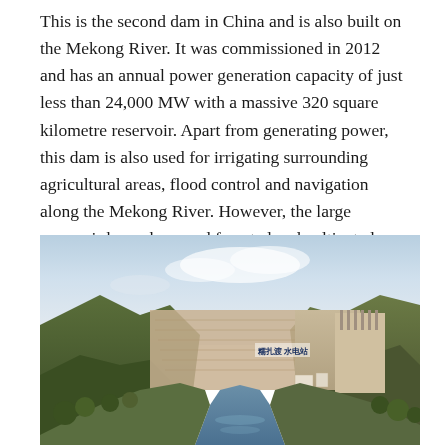This is the second dam in China and is also built on the Mekong River. It was commissioned in 2012 and has an annual power generation capacity of just less than 24,000 MW with a massive 320 square kilometre reservoir. Apart from generating power, this dam is also used for irrigating surrounding agricultural areas, flood control and navigation along the Mekong River. However, the large reservoir has submerged forested and cultivated land attracting criticism from the international community.
[Figure (photo): Photograph of a large dam on the Mekong River in China, viewed from downstream. The dam structure is visible between two mountain ridges with vegetation. A wide reservoir and spillway are visible, with Chinese text signage on the dam face. Blue sky with light clouds above.]